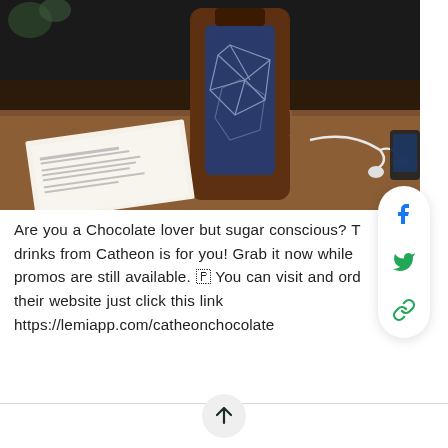[Figure (photo): A dark brown/blue bottle with geometric line pattern on a wooden desk, with white earbuds, an open book/document with text, and a small device in background. Dark ambient lighting.]
Are you a Chocolate lover but sugar conscious? T... drinks from Catheon is for you! Grab it now while promos are still available. 🇵 You can visit and ord... their website just click this link https://lemiapp.com/catheonchocolate
Recommendations
[Figure (screenshot): Social sharing sidebar with Facebook, Twitter, and link icons]